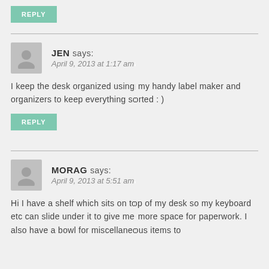REPLY
JEN says: April 9, 2013 at 1:17 am
I keep the desk organized using my handy label maker and organizers to keep everything sorted : )
REPLY
MORAG says: April 9, 2013 at 5:51 am
Hi I have a shelf which sits on top of my desk so my keyboard etc can slide under it to give me more space for paperwork. I also have a bowl for miscellaneous items to